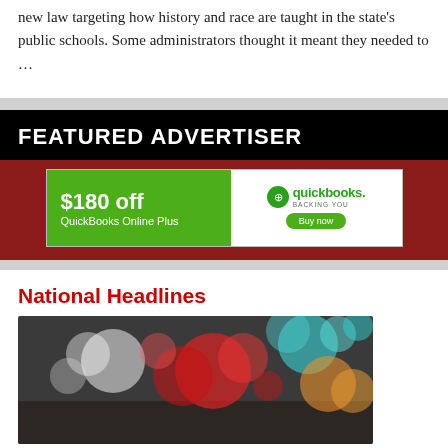new law targeting how history and race are taught in the state's public schools. Some administrators thought it meant they needed to …
[Figure (infographic): Featured Advertiser banner with QuickBooks ad: $180 off QuickBooks Online Plus, with QuickBooks logo and Buy now button]
National Headlines
[Figure (photo): Bokeh photo with colorful blurred lights — teal, red, orange, white circles on dark background]